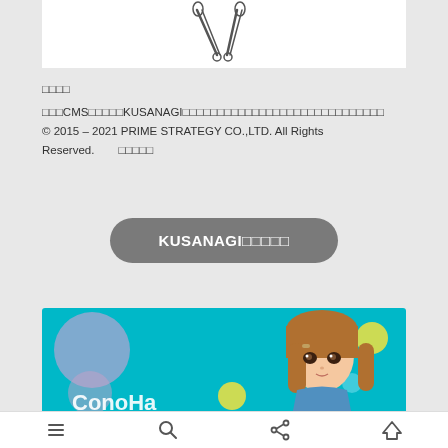[Figure (illustration): Partial illustration of a character or scissors/tool on white background, cropped at top]
□□□□
□□□CMS□□□□□KUSANAGI□□□□□□□□□□□□□□□□□□□□□□□□□□□□□
© 2015 – 2021 PRIME STRATEGY CO.,LTD. All Rights Reserved.     □□□□□
KUSANAGI□□□□□
[Figure (illustration): ConoHa anime character advertisement banner with teal/cyan background, anime girl with brown hair, yellow and pink bubbles, 'ConoHa' text at bottom]
≡  🔍  ⇧  ▲